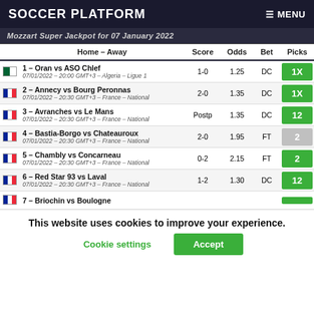SOCCER PLATFORM   ≡ MENU
Mozzart Super Jackpot for 07 January 2022
|  | Home – Away | Score | Odds | Bet | Picks |
| --- | --- | --- | --- | --- | --- |
| 🇩🇿 | 1 – Oran vs ASO Chlef | 07/01/2022 – 20:00 GMT+3 – Algeria – Ligue 1 | 1-0 | 1.25 | DC | 1X |
| 🇫🇷 | 2 – Annecy vs Bourg Peronnas | 07/01/2022 – 20:30 GMT+3 – France – National | 2-0 | 1.35 | DC | 1X |
| 🇫🇷 | 3 – Avranches vs Le Mans | 07/01/2022 – 20:30 GMT+3 – France – National | Postp | 1.35 | DC | 12 |
| 🇫🇷 | 4 – Bastia-Borgo vs Chateauroux | 07/01/2022 – 20:30 GMT+3 – France – National | 2-0 | 1.95 | FT | 2 |
| 🇫🇷 | 5 – Chambly vs Concarneau | 07/01/2022 – 20:30 GMT+3 – France – National | 0-2 | 2.15 | FT | 2 |
| 🇫🇷 | 6 – Red Star 93 vs Laval | 07/01/2022 – 20:30 GMT+3 – France – National | 1-2 | 1.30 | DC | 12 |
| 🇫🇷 | 7 – Briochin vs Boulogne |  |  |  |  |
This website uses cookies to improve your experience.
Cookie settings   Accept